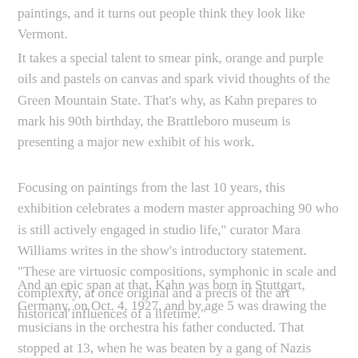paintings, and it turns out people think they look like Vermont.
It takes a special talent to smear pink, orange and purple oils and pastels on canvas and spark vivid thoughts of the Green Mountain State. That's why, as Kahn prepares to mark his 90th birthday, the Brattleboro museum is presenting a major new exhibit of his work.
Focusing on paintings from the last 10 years, this exhibition celebrates a modern master approaching 90 who is still actively engaged in studio life," curator Mara Williams writes in the show's introductory statement. "These are virtuosic compositions, symphonic in scale and complexity, at once original and a précis of the art historical influences of a lifetime."
And an epic span at that. Kahn was born in Stuttgart, Germany, on Oct. 4, 1927, and by age 5 was drawing the musicians in the orchestra his father conducted. That stopped at 13, when he was beaten by a gang of Nazis ("they broke my bicycle, too") and was forced to flee his homeland on a "Kindertransport" train.